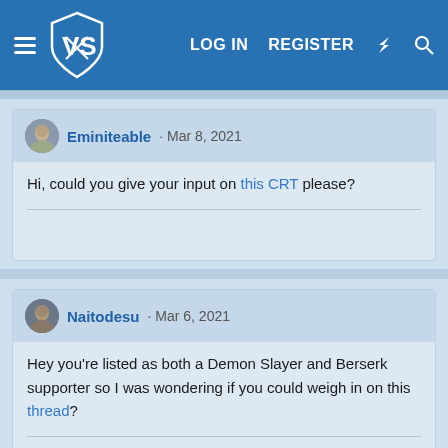VS | LOG IN | REGISTER
Eminiteable · Mar 8, 2021
Hi, could you give your input on this CRT please?
Naitodesu · Mar 6, 2021
Hey you're listed as both a Demon Slayer and Berserk supporter so I was wondering if you could weigh in on this thread?